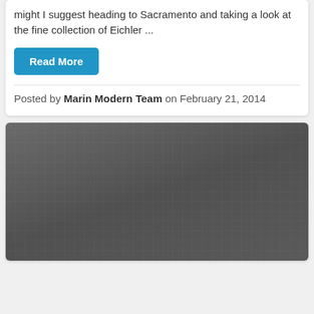might I suggest heading to Sacramento and taking a look at the fine collection of Eichler ...
Read More
Posted by Marin Modern Team on February 21, 2014
[Figure (photo): Dark gray textured image, likely a photo of a building or architectural element, mostly dark gray tones with a subtle grid-like texture pattern.]